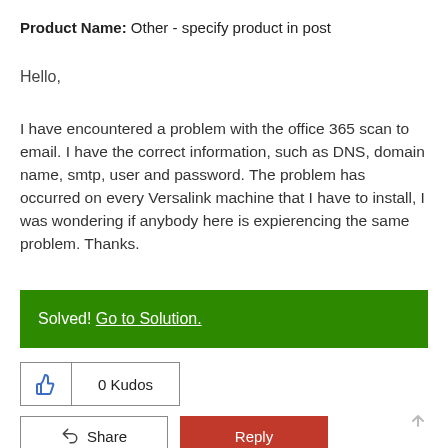Product Name: Other - specify product in post
Hello,
I have encountered a problem with the office 365 scan to email. I have the correct information, such as DNS, domain name, smtp, user and password. The problem has occurred on every Versalink machine that I have to install, I was wondering if anybody here is expierencing the same problem. Thanks.
Solved! Go to Solution.
0 Kudos
Share
Reply